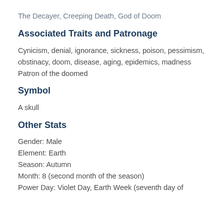The Decayer, Creeping Death, God of Doom
Associated Traits and Patronage
Cynicism, denial, ignorance, sickness, poison, pessimism, obstinacy, doom, disease, aging, epidemics, madness
Patron of the doomed
Symbol
A skull
Other Stats
Gender: Male
Element: Earth
Season: Autumn
Month: 8 (second month of the season)
Power Day: Violet Day, Earth Week (seventh day of